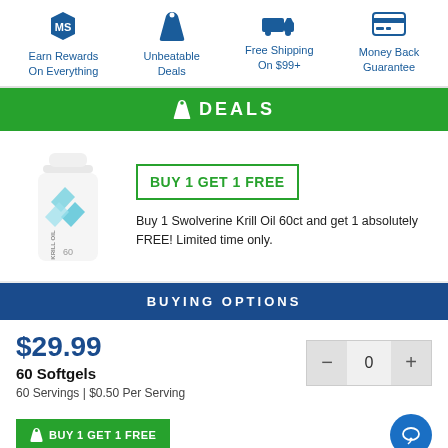Earn Rewards On Everything | Unbeatable Deals | Free Shipping On $99+ | Money Back Guarantee
DEALS
[Figure (photo): Swolverine Krill Oil 60ct product bottle, white with teal logo]
BUY 1 GET 1 FREE
Buy 1 Swolverine Krill Oil 60ct and get 1 absolutely FREE! Limited time only.
BUYING OPTIONS
$29.99
60 Softgels
60 Servings | $0.50 Per Serving
BUY 1 GET 1 FREE